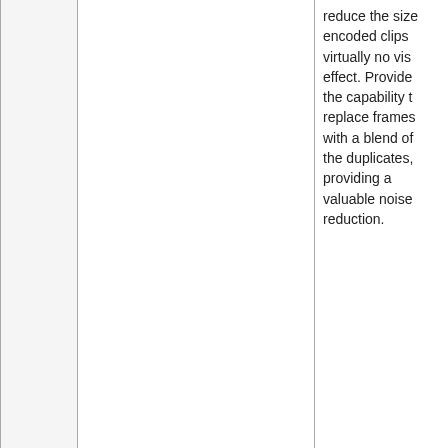|  | Plugin | Description |
| --- | --- | --- |
|  |  | reduce the size encoded clips virtually no vis effect. Provide the capability t replace frames with a blend of the duplicates, providing a valuable noise reduction. |
|  | Duplicity2/DropDeadGorgeous 🔒 | A two faced scheming and double dealing your behalf] du tool. |
|  | Dupped 🔗 | Another frame duplication function, simila Dup, but hopet more accurate |